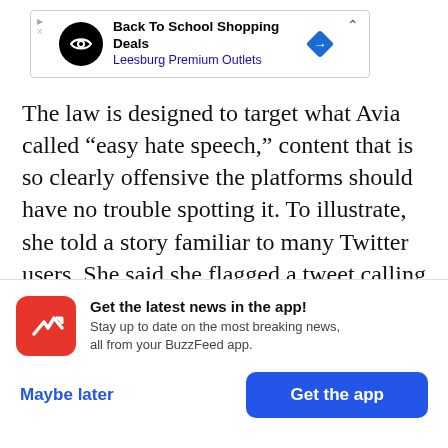[Figure (other): Advertisement banner for Back To School Shopping Deals at Leesburg Premium Outlets with navigation icon]
The law is designed to target what Avia called “easy hate speech,” content that is so clearly offensive the platforms should have no trouble spotting it. To illustrate, she told a story familiar to many Twitter users. She said she flagged a tweet calling her a “negress owned by Jews who protects faggots.” She was astonished to get a notice from Twitter saying the tweet didn’t violate community rules. Even a
[Figure (other): BuzzFeed app notification banner: Get the latest news in the app! Stay up to date on the most breaking news, all from your BuzzFeed app. Buttons: Maybe later, Get the app]